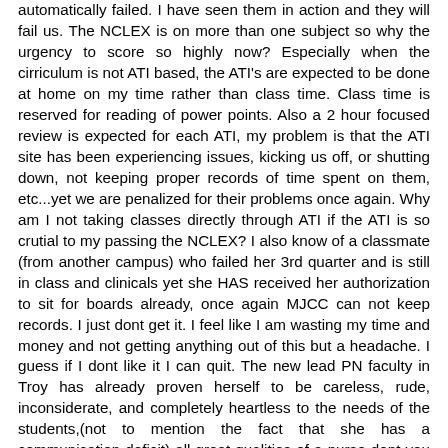automatically failed. I have seen them in action and they will fail us. The NCLEX is on more than one subject so why the urgency to score so highly now? Especially when the cirriculum is not ATI based, the ATI's are expected to be done at home on my time rather than class time. Class time is reserved for reading of power points. Also a 2 hour focused review is expected for each ATI, my problem is that the ATI site has been experiencing issues, kicking us off, or shutting down, not keeping proper records of time spent on them, etc...yet we are penalized for their problems once again. Why am I not taking classes directly through ATI if the ATI is so crutial to my passing the NCLEX? I also know of a classmate (from another campus) who failed her 3rd quarter and is still in class and clinicals yet she HAS received her authorization to sit for boards already, once again MJCC can not keep records. I just dont get it. I feel like I am wasting my time and money and not getting anything out of this but a headache. I guess if I dont like it I can quit. The new lead PN faculty in Troy has already proven herself to be careless, rude, inconsiderate, and completely heartless to the needs of the students,(not to mention the fact that she has a communication deficit) all great qualities of a nurse dont you think! Thanks MJCC